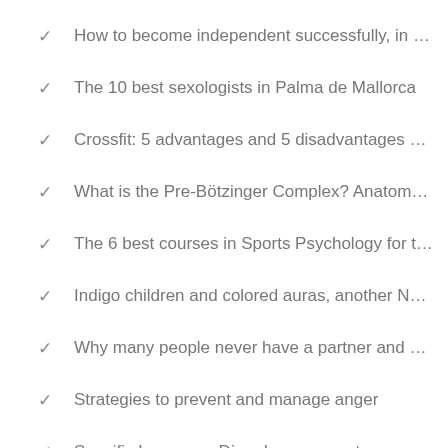How to become independent successfully, in …
The 10 best sexologists in Palma de Mallorca
Crossfit: 5 advantages and 5 disadvantages …
What is the Pre-Bötzinger Complex? Anatom…
The 6 best courses in Sports Psychology for t…
Indigo children and colored auras, another N…
Why many people never have a partner and …
Strategies to prevent and manage anger
Specific Language Disorder: causes, types, a…